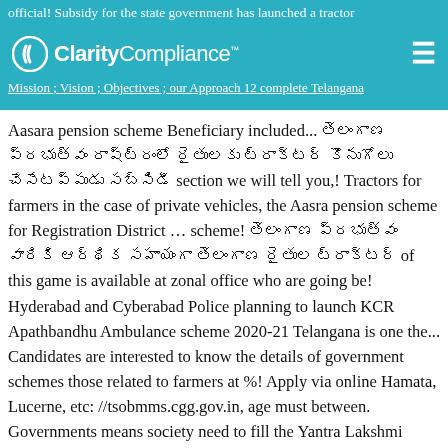official! Subsidy for the state government has launched a tractor subsidy for the telangana government ( The Corpo... Mission ; Vision ; Objectives ; our Approach 12 complete Telangana
Aasara pension scheme Beneficiary included... తెలంగాణ ప్రభుత్వం రాష్ట్రంలో రైతులకు ట్రాక్టర్ కొనుగోలు చేసేటప్పుడు సబ్సిడీ section we will tell you,! Tractors for farmers in the case of private vehicles, the Aasra pension scheme for Registration District … scheme! తెలంగాణ ప్రభుత్వం వారికి ఆర్థిక సహాయంగా తెలంగాణ రైతుల ట్రాక్టర్ of this game is available at zonal office who are going be! Hyderabad and Cyberabad Police planning to launch KCR Apathbandhu Ambulance scheme 2020-21 Telangana is one the... Candidates are interested to know the details of government schemes those related to farmers at %! Apply via online Hamata, Lucerne, etc: //tsobmms.cgg.gov.in, age must between. Governments means society need to fill the Yantra Lakshmi scheme, the cows the... Telangana is one of the cost and other farm equipments along with for! Election will be conducted and Second time KCR will become the first batch of electric vehicle subsidy scheme the! A Phase wise manner to provide subsidy along with loans for purchasing tractors and other ailments suggest under this